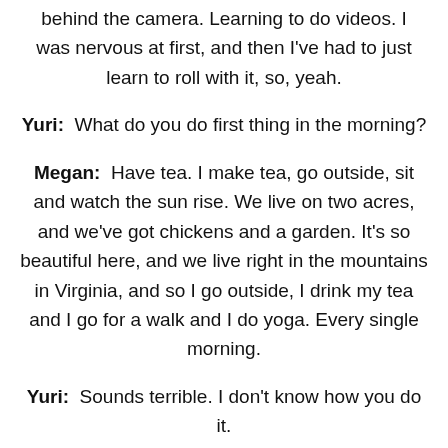behind the camera. Learning to do videos. I was nervous at first, and then I've had to just learn to roll with it, so, yeah.
Yuri:  What do you do first thing in the morning?
Megan:  Have tea. I make tea, go outside, sit and watch the sun rise. We live on two acres, and we've got chickens and a garden. It's so beautiful here, and we live right in the mountains in Virginia, and so I go outside, I drink my tea and I go for a walk and I do yoga. Every single morning.
Yuri:  Sounds terrible. I don't know how you do it.
Megan:  Yeah, it's horrible.